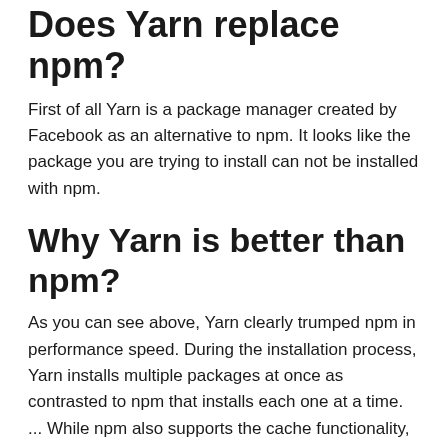Does Yarn replace npm?
First of all Yarn is a package manager created by Facebook as an alternative to npm. It looks like the package you are trying to install can not be installed with npm.
Why Yarn is better than npm?
As you can see above, Yarn clearly trumped npm in performance speed. During the installation process, Yarn installs multiple packages at once as contrasted to npm that installs each one at a time. ... While npm also supports the cache functionality, it seems Yarn’s is far much better.